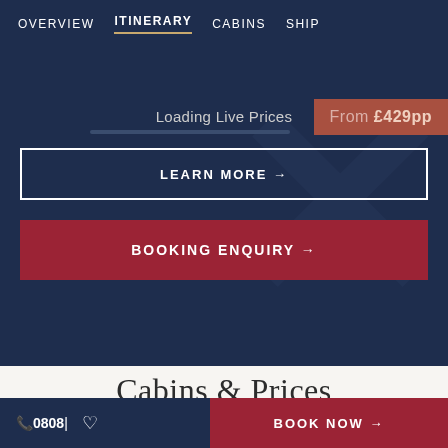OVERVIEW  ITINERARY  CABINS  SHIP
Loading Live Prices
From £429pp
LEARN MORE →
BOOKING ENQUIRY →
Cabins & Prices
View prices as:
PER PERSON  SOLO
📞0808  ♡  BOOK NOW →